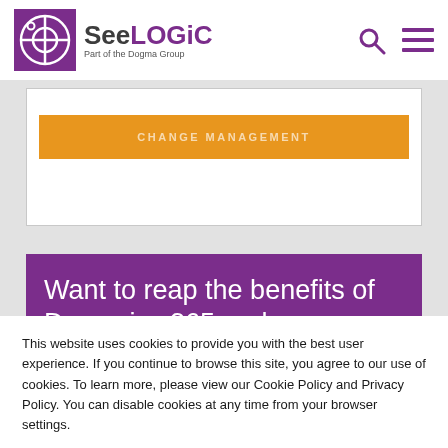SeeLOGiC — Part of the Dogma Group
[Figure (screenshot): Orange button with partially visible text (CHANGE MANAGEMENT) on a white card with light border, on a grey background]
Want to reap the benefits of Dynamics 365 and SharePoint
This website uses cookies to provide you with the best user experience. If you continue to browse this site, you agree to our use of cookies. To learn more, please view our Cookie Policy and Privacy Policy. You can disable cookies at any time from your browser settings.
Okay